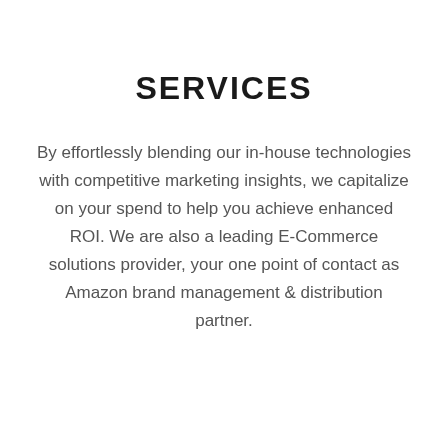SERVICES
By effortlessly blending our in-house technologies with competitive marketing insights, we capitalize on your spend to help you achieve enhanced ROI. We are also a leading E-Commerce solutions provider, your one point of contact as Amazon brand management & distribution partner.